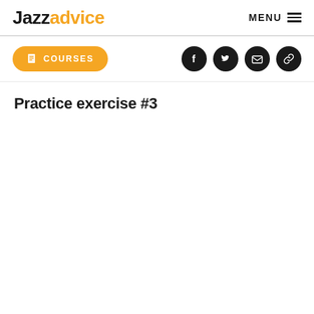Jazzadvice  MENU
[Figure (logo): Jazzadvice logo with black 'Jazz' and orange 'advice' text]
COURSES
[Figure (illustration): Social media icons: Facebook, Twitter, Email, Link - black circles with white icons]
Practice exercise #3